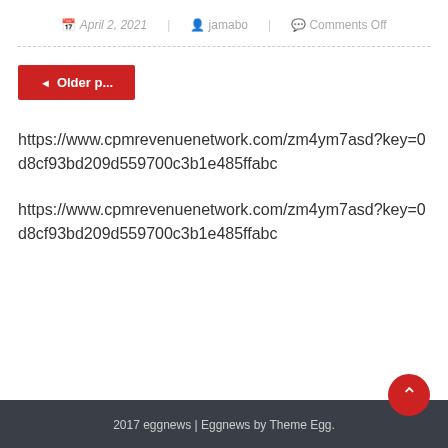April 2, 2021  jamabo  Comments Off
◄ Older p...
https://www.cpmrevenuenetwork.com/zm4ym7asd?key=0d8cf93bd209d559700c3b1e485ffabc
https://www.cpmrevenuenetwork.com/zm4ym7asd?key=0d8cf93bd209d559700c3b1e485ffabc
2017 eggnews | Eggnews by Theme Egg.